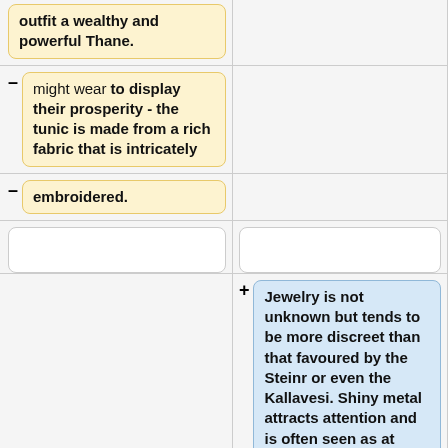outfit a wealthy and powerful Thane.
– might wear to display their prosperity - the tunic is made from a rich fabric that is intricately
– embroidered.
+ Jewelry is not unknown but tends to be more discreet than that favoured by the Steinr or even the Kallavesi. Shiny metal attracts attention and is often seen as at odds with the Suaq's role as hunters. Rather than metal torcs, rings, or bangles Suaq favour more natural materials -